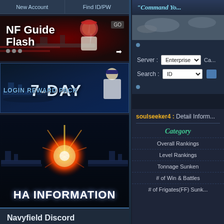[Figure (screenshot): Navigation bar with 'New Account' and 'Find ID/PW' buttons on dark blue background]
[Figure (screenshot): NF Guide Flash banner with battleship imagery and character, red/dark background]
[Figure (screenshot): 7-Day Login Reward Pack banner with battleship and naval officer on dark blue background]
[Figure (screenshot): HA Information banner with battleships and explosion graphic on dark background]
Navyfield Discord
Room#1
Room#2
Rooom#1
[NavyField Mobile]
[NavyField 1]
"Command Yo...
Server : Enterprise
Search : ID
soulseeker4 :  Detail Inform...
Category
Overall Rankings
Level Rankings
Tonnage Sunken
# of Win & Battles
# of Frigates(FF) Sunk...